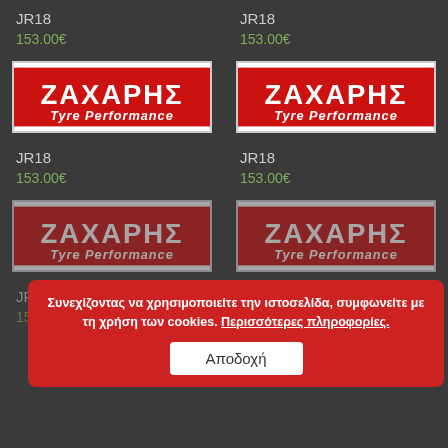JR18
JR18
153.00€
153.00€
[Figure (logo): ΖΑΧΑΡΗΣ Tyre Performance logo - red background with white bold Greek text and italic Tyre Performance text]
[Figure (logo): ΖΑΧΑΡΗΣ Tyre Performance logo - red background with white bold Greek text and italic Tyre Performance text]
JR18
JR18
153.00€
153.00€
[Figure (logo): ΖΑΧΑΡΗΣ Tyre Performance logo partially visible behind cookie banner]
[Figure (logo): ΖΑΧΑΡΗΣ Tyre Performance logo partially visible behind cookie banner]
Συνεχίζοντας να χρησιμοποιείτε την ιστοσελίδα, συμφωνείτε με τη χρήση των cookies. Περισσότερες πληροφορίες.
Αποδοχή
JR18
JR18
153.00€
153.00€